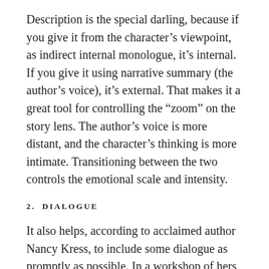Description is the special darling, because if you give it from the character's viewpoint, as indirect internal monologue, it's internal. If you give it using narrative summary (the author's voice), it's external. That makes it a great tool for controlling the “zoom” on the story lens. The author's voice is more distant, and the character's thinking is more intimate. Transitioning between the two controls the emotional scale and intensity.
2.  DIALOGUE
It also helps, according to acclaimed author Nancy Kress, to include some dialogue as promptly as possible. In a workshop of hers that I attended several years back, she mentioned that her work began to get a lot more requests from publication